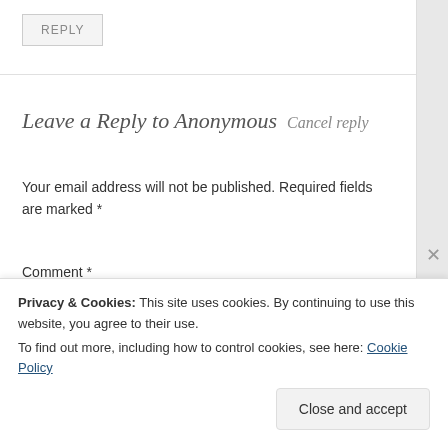REPLY
Leave a Reply to Anonymous Cancel reply
Your email address will not be published. Required fields are marked *
Comment *
Privacy & Cookies: This site uses cookies. By continuing to use this website, you agree to their use.
To find out more, including how to control cookies, see here: Cookie Policy
Close and accept